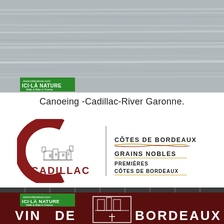[Figure (photo): Aerial or wide-angle view of the River Garonne near Cadillac, showing grey rippling water with horizontal streaks. Green ICI-LÀ NATURE watermark badge in lower-left corner.]
Canoeing -Cadillac-River Garonne.
[Figure (logo): Cadillac wine logo: large red letter C with château illustration inside, text CADILLAC below. Divided by vertical line from right side text: CÔTES DE BORDEAUX / GRAINS NOBLES / PREMIÈRES CÔTES DE BORDEAUX with decorative swash lines.]
[Figure (photo): Bottom portion of a dark red Bordeaux wine sign with white text reading VIN DE BORDEAUX and a château emblem. Green ICI-LÀ NATURE watermark badge in upper-left.]